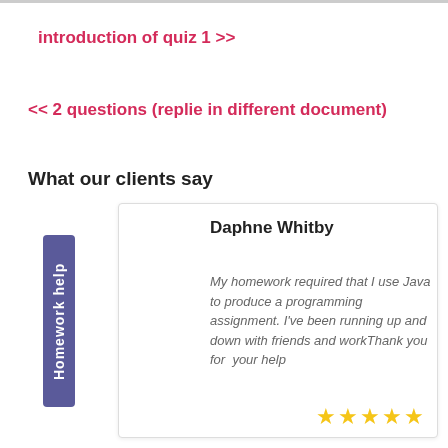introduction of quiz 1 >>
<< 2 questions (replie in different document)
What our clients say
Homework help
Daphne Whitby
My homework required that I use Java to produce a programming assignment. I've been running up and down with friends and workThank you for  your help
[Figure (other): Five gold star rating icons]